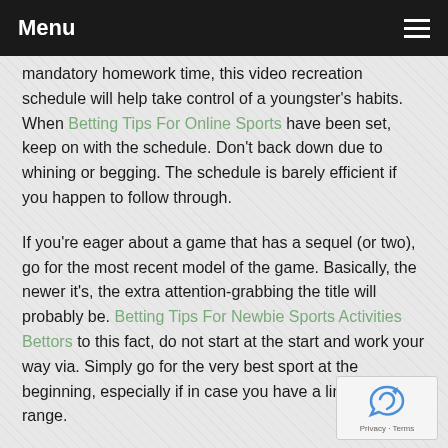Menu
mandatory homework time, this video recreation schedule will help take control of a youngster's habits. When Betting Tips For Online Sports have been set, keep on with the schedule. Don't back down due to whining or begging. The schedule is barely efficient if you happen to follow through.
If you're eager about a game that has a sequel (or two), go for the most recent model of the game. Basically, the newer it's, the extra attention-grabbing the title will probably be. Betting Tips For Newbie Sports Activities Bettors to this fact, do not start at the start and work your way via. Simply go for the very best sport at the beginning, especially if in case you have a limited price range.
If you happen to determine to permit your preschooler play a video game, always sit with them when they do it.